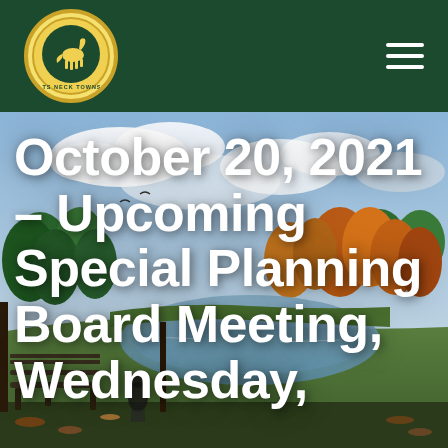Colts Neck Township (logo and navigation)
[Figure (photo): Autumn park scene with a pond, colorful fall foliage trees (orange, red, green), cloudy blue sky, park bench and statue in foreground]
October 20, 2021 – Upcoming Special Planning Board Meeting, Wednesday,